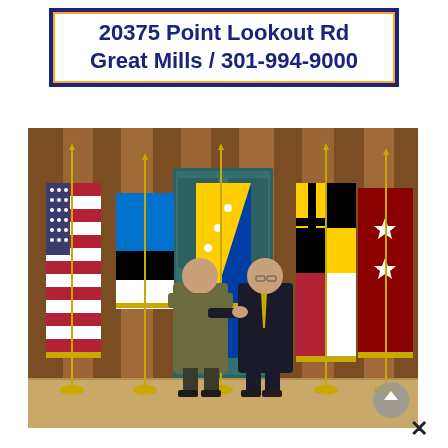20375 Point Lookout Rd Great Mills / 301-994-9000
[Figure (photo): Two men shaking hands in a wood-paneled room surrounded by multiple flags including the US flag, Estonian flag, Bosnian flag, Maryland flag, and a military general's flag. The man on the left is in military uniform and the man on the right is in a dark suit.]